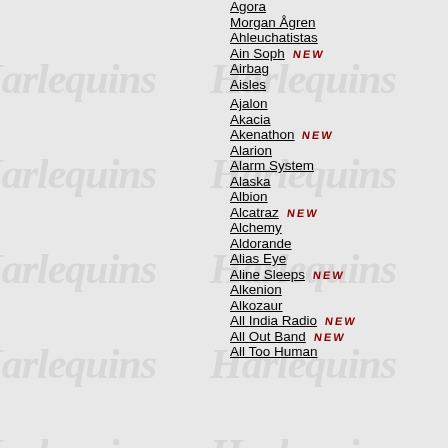Agora
Morgan Ågren
Ahleuchatistas
Ain Soph NEW
Airbag
Aisles
Ajalon
Akacia
Akenathon NEW
Alarion
Alarm System
Alaska
Albion
Alcatraz NEW
Alchemy
Aldorande
Alias Eye
Aline Sleeps NEW
Alkenion
Alkozaur
All India Radio NEW
All Out Band NEW
All Too Human